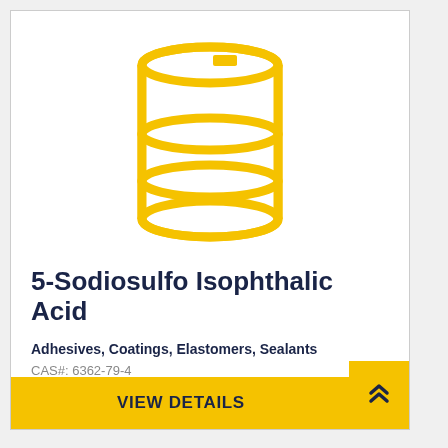[Figure (illustration): Gold/yellow outline icon of an industrial chemical drum/barrel with two horizontal bands and a small label rectangle on the lid.]
5-Sodiosulfo Isophthalic Acid
Adhesives, Coatings, Elastomers, Sealants
CAS#: 6362-79-4
VIEW DETAILS